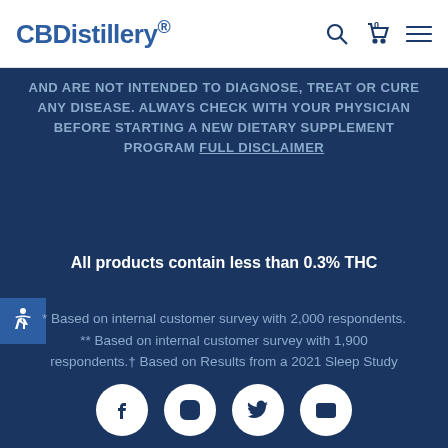CBDistillery®
AND ARE NOT INTENDED TO DIAGNOSE, TREAT OR CURE ANY DISEASE. ALWAYS CHECK WITH YOUR PHYSICIAN BEFORE STARTING A NEW DIETARY SUPPLEMENT PROGRAM FULL DISCLAIMER
All products contain less than 0.3% THC
* Based on internal customer survey with 2,000 respondents. ** Based on internal customer survey with 1,900 respondents.† Based on Results from a 2021 Sleep Study with MoreBetter. ‡Dr. Frey is a paid medical advisor for CBDistillery®
[Figure (other): Social media icons row: Facebook, Instagram, Twitter, Email]